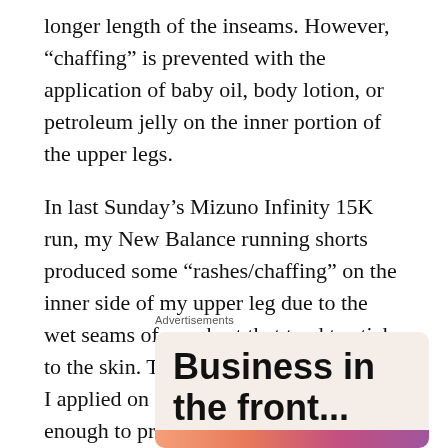longer length of the inseams. However, “chaffing” is prevented with the application of baby oil, body lotion, or petroleum jelly on the inner portion of the upper legs.
In last Sunday’s Mizuno Infinity 15K run, my New Balance running shorts produced some “rashes/chaffing” on the inner side of my upper leg due to the wet seams of my short that tend to stick to the skin. The body oil and lotion that I applied on my upper legs were not enough to prevent the “skin rashes”.
Advertisements
[Figure (other): Advertisement box with beige/pink background showing bold text 'Business in the front...' and a colorful gradient bar at the bottom]